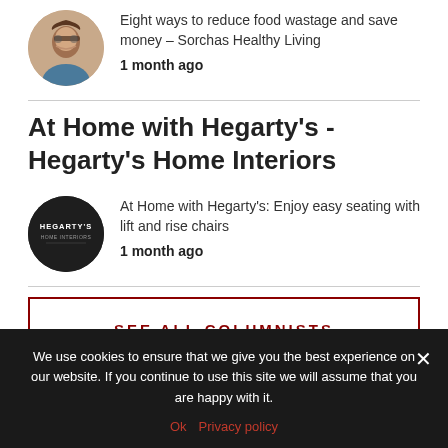[Figure (photo): Circular avatar photo of a woman with glasses and long hair]
Eight ways to reduce food wastage and save money – Sorchas Healthy Living
1 month ago
At Home with Hegarty's - Hegarty's Home Interiors
[Figure (logo): Hegarty's Home Interiors circular dark logo]
At Home with Hegarty's: Enjoy easy seating with lift and rise chairs
1 month ago
SEE ALL COLUMNISTS
We use cookies to ensure that we give you the best experience on our website. If you continue to use this site we will assume that you are happy with it.
Ok   Privacy policy